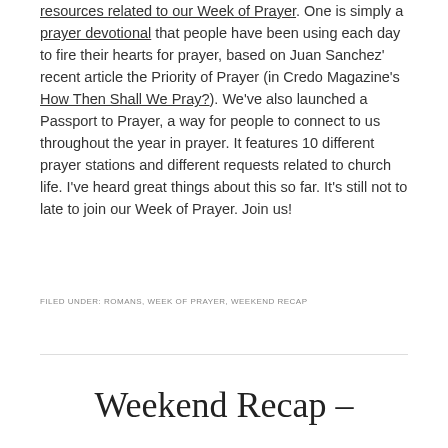resources related to our Week of Prayer. One is simply a prayer devotional that people have been using each day to fire their hearts for prayer, based on Juan Sanchez' recent article the Priority of Prayer (in Credo Magazine's How Then Shall We Pray?). We've also launched a Passport to Prayer, a way for people to connect to us throughout the year in prayer. It features 10 different prayer stations and different requests related to church life. I've heard great things about this so far. It's still not to late to join our Week of Prayer. Join us!
FILED UNDER: ROMANS, WEEK OF PRAYER, WEEKEND RECAP
Weekend Recap –